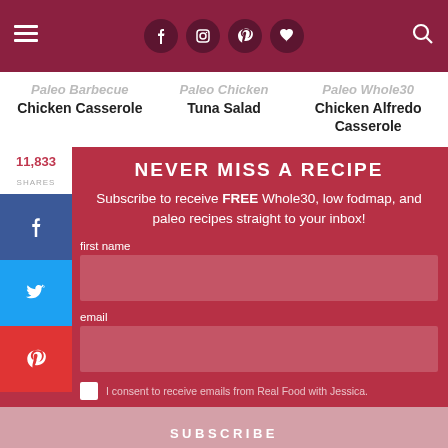Navigation bar with hamburger menu, social icons (Facebook, Instagram, Pinterest, Heart), and search icon
Paleo Barbecue Chicken Casserole
Paleo Chicken Tuna Salad
Paleo Whole30 Chicken Alfredo Casserole
11,833 SHARES
NEVER MISS A RECIPE
Subscribe to receive FREE Whole30, low fodmap, and paleo recipes straight to your inbox!
first name
email
I consent to receive emails from Real Food with Jessica.
SUBSCRIBE